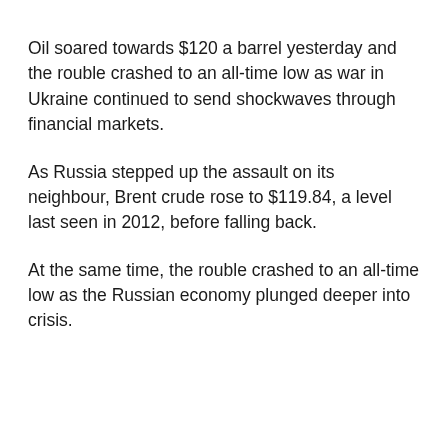Oil soared towards $120 a barrel yesterday and the rouble crashed to an all-time low as war in Ukraine continued to send shockwaves through financial markets.
As Russia stepped up the assault on its neighbour, Brent crude rose to $119.84, a level last seen in 2012, before falling back.
At the same time, the rouble crashed to an all-time low as the Russian economy plunged deeper into crisis.